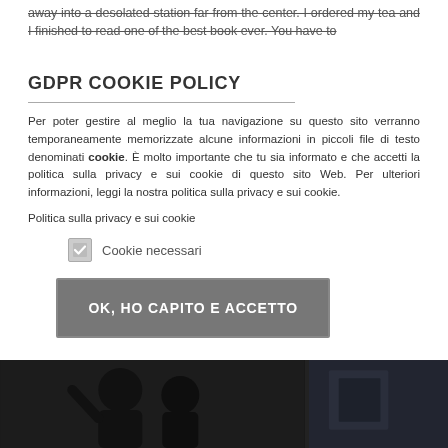away into a desolated station far from the center. I ordered my tea and I finished to read one of the best book ever. You have to
GDPR COOKIE POLICY
Per poter gestire al meglio la tua navigazione su questo sito verranno temporaneamente memorizzate alcune informazioni in piccoli file di testo denominati cookie. È molto importante che tu sia informato e che accetti la politica sulla privacy e sui cookie di questo sito Web. Per ulteriori informazioni, leggi la nostra politica sulla privacy e sui cookie.
Politica sulla privacy e sui cookie
Cookie necessari
OK, HO CAPITO E ACCETTO
[Figure (photo): Dark photo at the bottom showing people, partially visible. Two panels side by side, left panel shows person gesturing, right panel shows a dark interior scene.]